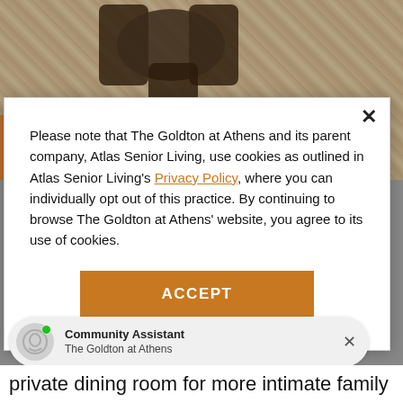[Figure (photo): Photo of a dining room with dark wooden chairs and a round table on a patterned carpet. An accessibility icon (wheelchair symbol) appears in an orange/brown square on the left side.]
Please note that The Goldton at Athens and its parent company, Atlas Senior Living, use cookies as outlined in Atlas Senior Living's Privacy Policy, where you can individually opt out of this practice. By continuing to browse The Goldton at Athens' website, you agree to its use of cookies.
ACCEPT
Community Assistant
The Goldton at Athens
private dining room for more intimate family